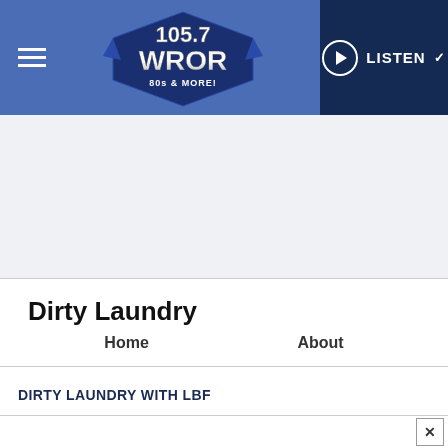105.7 WROR 80s & More! — LISTEN
[Figure (logo): 105.7 WROR 80s & More! radio station logo with blue shield/wings design]
Dirty Laundry
Home
About
DIRTY LAUNDRY WITH LBF